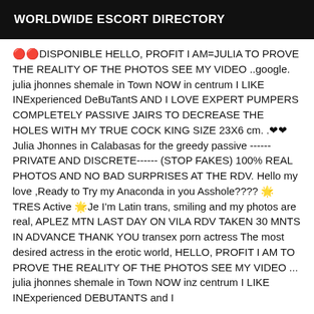WORLDWIDE ESCORT DIRECTORY
🔴🔴DISPONIBLE HELLO, PROFIT I AM=JULIA TO PROVE THE REALITY OF THE PHOTOS SEE MY VIDEO ..google. julia jhonnes shemale in Town NOW in centrum I LIKE INExperienced DeBuTantS AND I LOVE EXPERT PUMPERS COMPLETELY PASSIVE JAIRS TO DECREASE THE HOLES WITH MY TRUE COCK KING SIZE 23X6 cm. .❤❤Julia Jhonnes in Calabasas for the greedy passive ------ PRIVATE AND DISCRETE------ (STOP FAKES) 100% REAL PHOTOS AND NO BAD SURPRISES AT THE RDV. Hello my love ,Ready to Try my Anaconda in you Asshole???? 🌟TRES Active 🌟Je I'm Latin trans, smiling and my photos are real, APLEZ MTN LAST DAY ON VILA RDV TAKEN 30 MNTS IN ADVANCE THANK YOU transex porn actress The most desired actress in the erotic world, HELLO, PROFIT I AM TO PROVE THE REALITY OF THE PHOTOS SEE MY VIDEO ... julia jhonnes shemale in Town NOW inz centrum I LIKE INExperienced DEBUTANTS and I